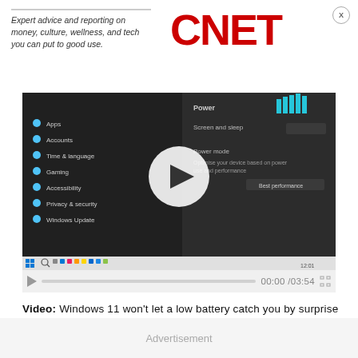[Figure (logo): CNET logo with tagline: Expert advice and reporting on money, culture, wellness, and tech you can put to good use.]
[Figure (screenshot): Video player showing Windows 11 settings screen with power options. Play button overlay visible. Video controls bar below showing 00:00/03:54.]
Video: Windows 11 won't let a low battery catch you by surprise
First published on Dec. 20, 2016 at 5:00 a.m. PT.
Advertisement